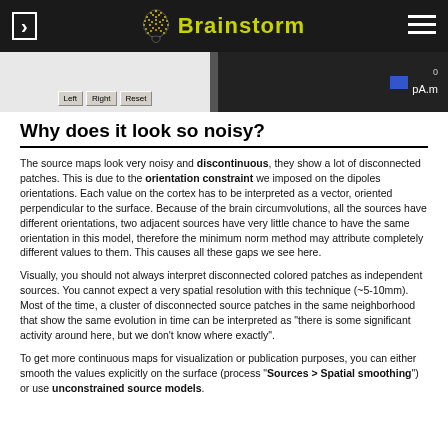Brainstorm
[Figure (screenshot): Screenshot of a GUI panel with Left, Right, Reset buttons on a grey background (left), and a 3D brain visualization on black background showing pA.m scale (right)]
Why does it look so noisy?
The source maps look very noisy and discontinuous, they show a lot of disconnected patches. This is due to the orientation constraint we imposed on the dipoles orientations. Each value on the cortex has to be interpreted as a vector, oriented perpendicular to the surface. Because of the brain circumvolutions, all the sources have different orientations, two adjacent sources have very little chance to have the same orientation in this model, therefore the minimum norm method may attribute completely different values to them. This causes all these gaps we see here.
Visually, you should not always interpret disconnected colored patches as independent sources. You cannot expect a very spatial resolution with this technique (~5-10mm). Most of the time, a cluster of disconnected source patches in the same neighborhood that show the same evolution in time can be interpreted as "there is some significant activity around here, but we don't know where exactly".
To get more continuous maps for visualization or publication purposes, you can either smooth the values explicitly on the surface (process "Sources > Spatial smoothing") or use unconstrained source models.